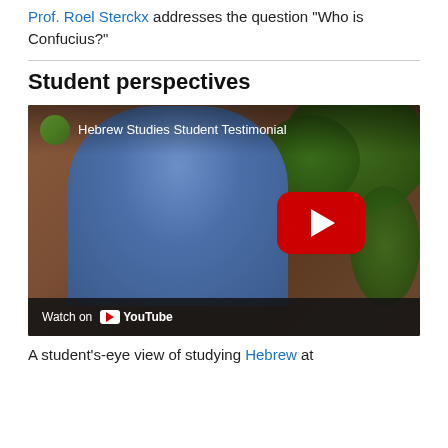Prof. Roel Sterckx addresses the question "Who is Confucius?"
Student perspectives
[Figure (screenshot): YouTube video thumbnail showing a student giving a testimonial titled 'Hebrew Studies Student Testimonial'. A young man wearing glasses and a blue shirt stands in front of a brick wall with green foliage. A red YouTube play button is overlaid in the center-right. A 'Watch on YouTube' bar appears at the bottom.]
A student's-eye view of studying Hebrew at